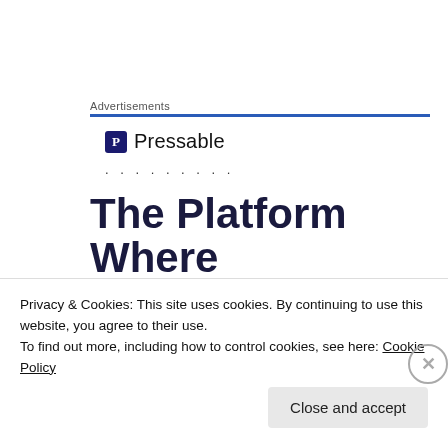Advertisements
[Figure (logo): Pressable logo with blue icon and company name]
. . . . . . . . .
The Platform Where WordPress
[Figure (photo): Two book/blog images: EAT ME 160 Fun Recipes and Following Good Food Around the World blog]
Privacy & Cookies: This site uses cookies. By continuing to use this website, you agree to their use.
To find out more, including how to control cookies, see here: Cookie Policy